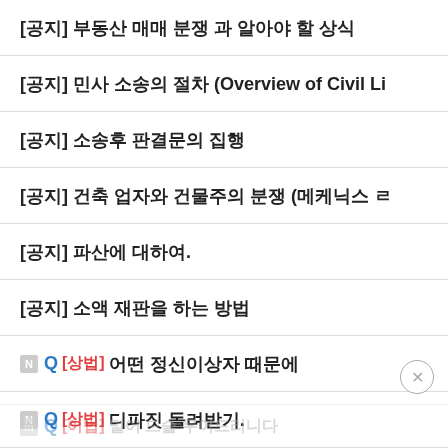[공지] 부동산 매매 분쟁 과 알아야 할 상식
[공지] 민사 소송의 절차 (Overview of Civil Li...
[공지] 소송후 판결문의 집행
[공지] 건축 업자와 건물주의 분쟁 (메케닉스 ㄹ...
[공지] 파산에 대하여.
[공지] 소액 재판을 하는 방법
Q [상법] 어떤 정신이상자 때문에
Q [상법] 디파짓 돌려받기.
Q [상법] 못 받은 사요금...
Q [이법] 멀어 드슬 무어드리니다